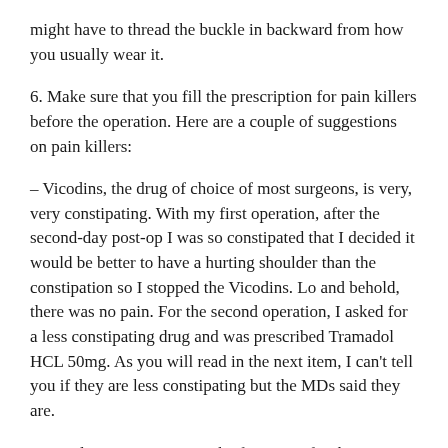might have to thread the buckle in backward from how you usually wear it.
6. Make sure that you fill the prescription for pain killers before the operation. Here are a couple of suggestions on pain killers:
– Vicodins, the drug of choice of most surgeons, is very, very constipating. With my first operation, after the second-day post-op I was so constipated that I decided it would be better to have a hurting shoulder than the constipation so I stopped the Vicodins. Lo and behold, there was no pain. For the second operation, I asked for a less constipating drug and was prescribed Tramadol HCL 50mg. As you will read in the next item, I can't tell you if they are less constipating but the MDs said they are.
– Based on my experience the first time, for the